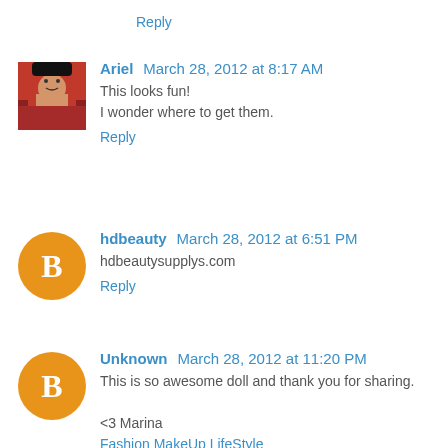Reply
Ariel  March 28, 2012 at 8:17 AM
This looks fun!
I wonder where to get them.
Reply
hdbeauty  March 28, 2012 at 6:51 PM
hdbeautysupplys.com
Reply
Unknown  March 28, 2012 at 11:20 PM
This is so awesome doll and thank you for sharing.
<3 Marina
Fashion MakeUp LifeStyle